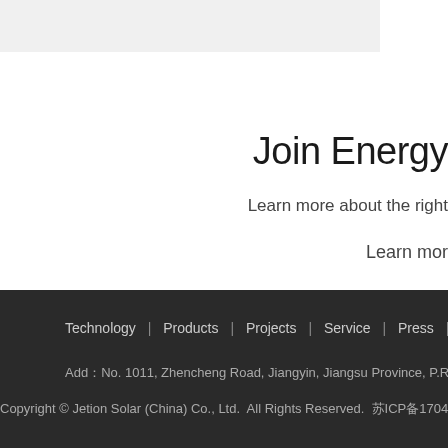Join Energy
Learn more about the right
Learn mor
Technology | Products | Projects | Service | Press | About Us |
Add：No. 1011, Zhencheng Road, Jiangyin, Jiangsu Province, P.R. China 21444
Copyright © Jetion Solar (China) Co., Ltd.  All Rights Reserved.  苏ICP备17040325号-1